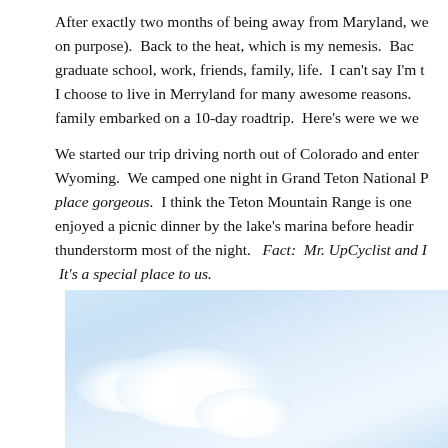After exactly two months of being away from Maryland, we [on purpose]. Back to the heat, which is my nemesis. Bac[k to] graduate school, work, friends, family, life. I can't say I'm t[hankful—] I choose to live in Merryland for many awesome reasons. [But my] family embarked on a 10-day roadtrip. Here's were we we[nt].

We started our trip driving north out of Colorado and enter[ed] Wyoming. We camped one night in Grand Teton National [Park—] place gorgeous. I think the Teton Mountain Range is one [of the finest.] enjoyed a picnic dinner by the lake's marina before headin[g out.] thunderstorm most of the night. Fact: Mr. UpCyclist and I[ met there.] It's a special place to us.
[Figure (photo): Photograph showing a blue sky with white clouds, partially visible, cropped at the bottom of the page.]